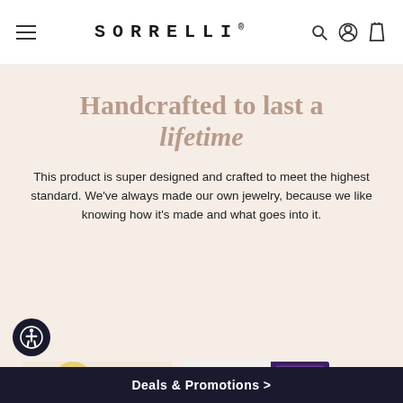SORRELLI
Handcrafted to last a lifetime
This product is super designed and crafted to meet the highest standard. We've always made our own jewelry, because we like knowing how it's made and what goes into it.
[Figure (photo): Two women working together in a bright studio, one holding a small white dog]
[Figure (photo): Close-up of hands picking up a crystal/rhinestone ring, with colorful gemstones in a box in background]
Deals & Promotions >